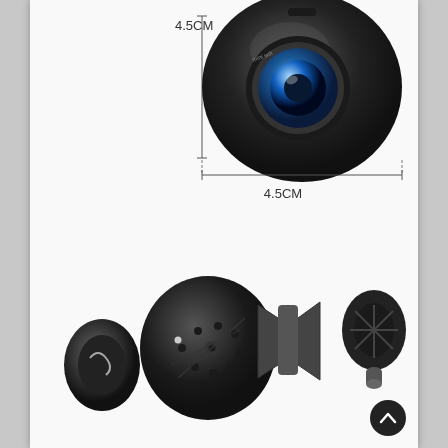[Figure (engineering-diagram): Top view of a small round black surveillance camera with blue lens, shown with dimension annotations: 4.5CM height on the left side and 4.5CM width along the bottom, indicating the camera is approximately 4.5cm by 4.5cm in size.]
[Figure (engineering-diagram): Exploded view of the mini camera showing its internal components disassembled: the back magnetic mount disc (black), the main camera body (black sphere with IR LEDs and lens), a ball-joint mounting bracket with screws, and the suction cup magnetic mount on the right end.]